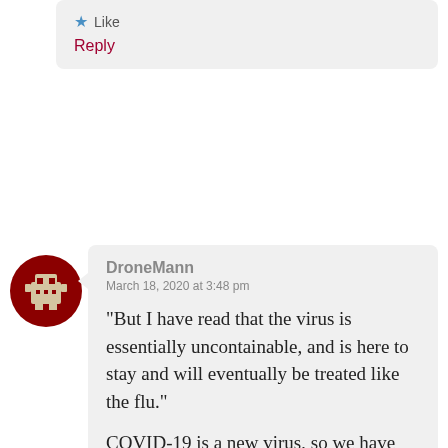[cropped text at top]
★ Like
Reply
DroneMann
March 18, 2020 at 3:48 pm
“But I have read that the virus is essentially uncontainable, and is here to stay and will eventually be treated like the flu.”
COVID-19 is a new virus, so we have almost no immunity to it. This is